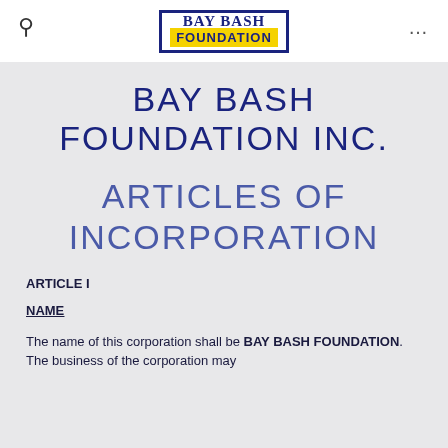BAY BASH FOUNDATION
BAY BASH FOUNDATION INC.
ARTICLES OF INCORPORATION
ARTICLE I
NAME
The name of this corporation shall be BAY BASH FOUNDATION. The business of the corporation may